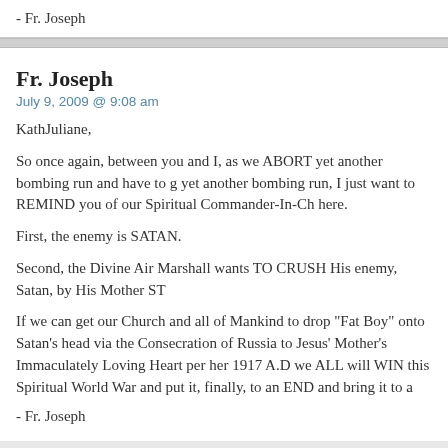- Fr. Joseph
Fr. Joseph
July 9, 2009 @ 9:08 am
KathJuliane,
So once again, between you and I, as we ABORT yet another bombing run and have to go yet another bombing run, I just want to REMIND you of our Spiritual Commander-In-Ch here.
First, the enemy is SATAN.
Second, the Divine Air Marshall wants TO CRUSH His enemy, Satan, by His Mother ST
If we can get our Church and all of Mankind to drop "Fat Boy" onto Satan's head via the Consecration of Russia to Jesus' Mother's Immaculately Loving Heart per her 1917 A.D we ALL will WIN this Spiritual World War and put it, finally, to an END and bring it to a
- Fr. Joseph
Fr. Joseph
July 9, 2009 @ 9:37 am